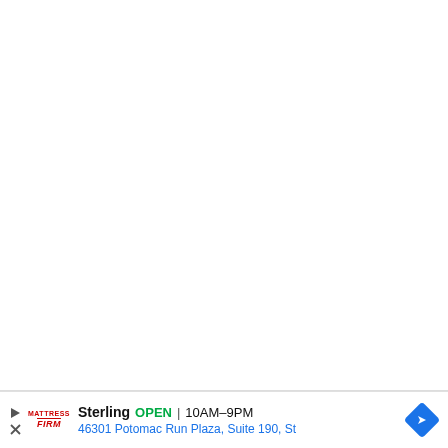[Figure (other): Advertisement bar for Mattress Firm store in Sterling. Shows store name, open status, hours (10AM-9PM), and address (46301 Potomac Run Plaza, Suite 190, St). Includes Mattress Firm logo, navigation arrow icon, play button and close (X) controls.]